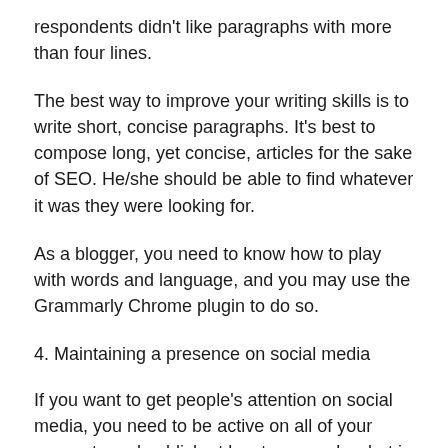respondents didn't like paragraphs with more than four lines.
The best way to improve your writing skills is to write short, concise paragraphs. It's best to compose long, yet concise, articles for the sake of SEO. He/she should be able to find whatever it was they were looking for.
As a blogger, you need to know how to play with words and language, and you may use the Grammarly Chrome plugin to do so.
4. Maintaining a presence on social media
If you want to get people's attention on social media, you need to be active on all of your accounts and publish at least once a day, but in my case I'm posting more than 20 pieces of content every day.